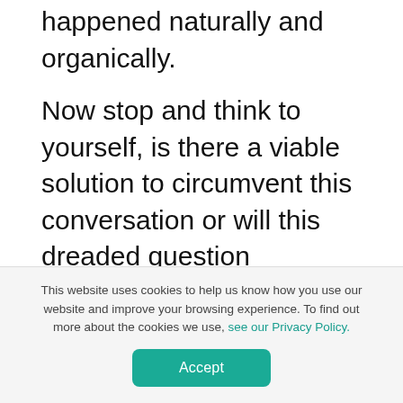happened naturally and organically.
Now stop and think to yourself, is there a viable solution to circumvent this conversation or will this dreaded question inevitably arise again?
As an agency, we have come up with a solution. It’s not 100% fool proof as nothing in life is purely perfect, but we have compiled three key steps that can be taken
This website uses cookies to help us know how you use our website and improve your browsing experience. To find out more about the cookies we use, see our Privacy Policy.
Accept